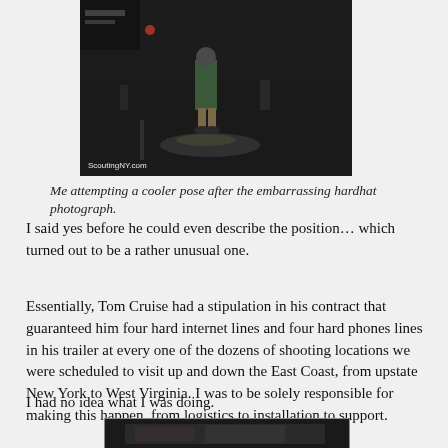[Figure (photo): A person standing on a wet nighttime street with film equipment around them. Watermark reads ScoutingNY.com.]
Me attempting a cooler pose after the embarrassing hardhat photograph.
I said yes before he could even describe the position… which turned out to be a rather unusual one.
Essentially, Tom Cruise had a stipulation in his contract that guaranteed him four hard internet lines and four hard phones lines in his trailer at every one of the dozens of shooting locations we were scheduled to visit up and down the East Coast, from upstate New York to West Virginia. I was to be solely responsible for making this happen, from logistics to installation to support.
I had no idea what I was doing.
[Figure (photo): Partial view of a second photograph at the bottom of the page, partially cut off.]